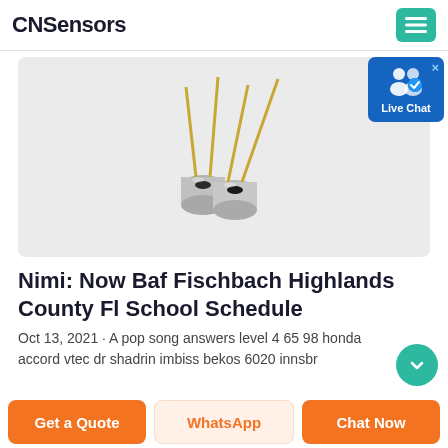CNSensors
[Figure (photo): Two small cylindrical sensor components (TO-can style laser diode or photodiode packages) with gold metal leads/pins extending upward, photographed on a light gray background.]
[Figure (infographic): Live Chat widget button — blue rounded rectangle with white silhouette icons of two people and a checkmark badge, labeled 'Live Chat']
Nimi: Now Baf Fischbach Highlands County Fl School Schedule
Oct 13, 2021 · A pop song answers level 4 65 98 honda accord vtec dr shadrin imbiss bekos 6020 innsbr
Get a Quote | WhatsApp | Chat Now